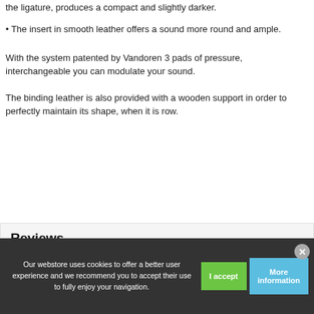the ligature, produces a compact and slightly darker.
• The insert in smooth leather offers a sound more round and ample.
With the system patented by Vandoren 3 pads of pressure, interchangeable you can modulate your sound.
The binding leather is also provided with a wooden support in order to perfectly maintain its shape, when it is row.
Reviews
No customer reviews for the moment.
Our webstore uses cookies to offer a better user experience and we recommend you to accept their use to fully enjoy your navigation.